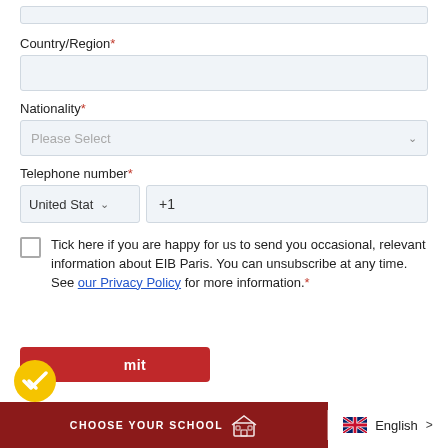Country/Region*
Nationality*
Telephone number*
Tick here if you are happy for us to send you occasional, relevant information about EIB Paris. You can unsubscribe at any time. See our Privacy Policy for more information.*
Submit
CHOOSE YOUR SCHOOL | English